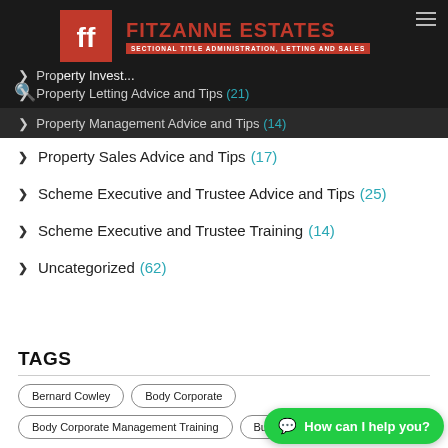Fitzanne Estates - Sectional Title Administration, Letting and Sales
Property Investment Advice and Tips
Property Letting Advice and Tips (21)
Property Management Advice and Tips (14)
Property Sales Advice and Tips (17)
Scheme Executive and Trustee Advice and Tips (25)
Scheme Executive and Trustee Training (14)
Uncategorized (62)
TAGS
Bernard Cowley, Body Corporate, Body Corporate Management Training, Budget2022